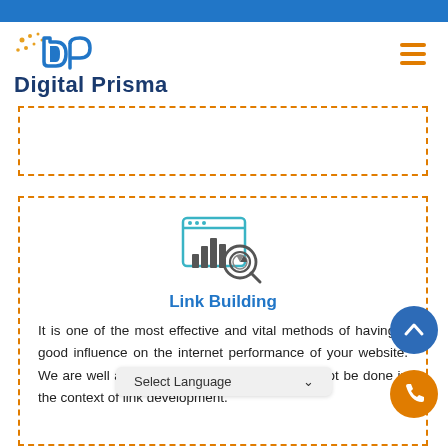Digital Prisma
[Figure (other): Empty dashed orange border advertisement box]
[Figure (illustration): Analytics/chart icon with magnifying glass in teal/dark outline style]
Link Building
It is one of the most effective and vital methods of having a good influence on the internet performance of your website. We are well aware of what should and should not be done in the context of link development.